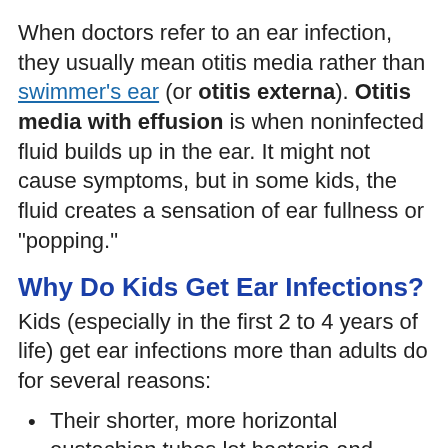When doctors refer to an ear infection, they usually mean otitis media rather than swimmer's ear (or otitis externa). Otitis media with effusion is when noninfected fluid builds up in the ear. It might not cause symptoms, but in some kids, the fluid creates a sensation of ear fullness or "popping."
Why Do Kids Get Ear Infections?
Kids (especially in the first 2 to 4 years of life) get ear infections more than adults do for several reasons:
Their shorter, more horizontal eustachian tubes let bacteria and viruses find their way into the middle ear more easily. The tubes are also narrower, so more likely to get blocked.
Their adenoids, gland-like structures at the back of the throat, are larger and can interfere with the